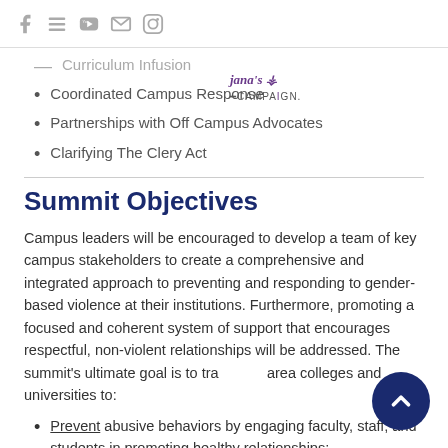Facebook, YouTube, Email, Instagram icons
Curriculum Infusion
Coordinated Campus Response
Partnerships with Off Campus Advocates
Clarifying The Clery Act
Summit Objectives
Campus leaders will be encouraged to develop a team of key campus stakeholders to create a comprehensive and integrated approach to preventing and responding to gender-based violence at their institutions. Furthermore, promoting a focused and coherent system of support that encourages respectful, non-violent relationships will be addressed. The summit's ultimate goal is to transform area colleges and universities to:
Prevent abusive behaviors by engaging faculty, staff, and students in promoting healthy relationships;
Ensure that the institution is prepared